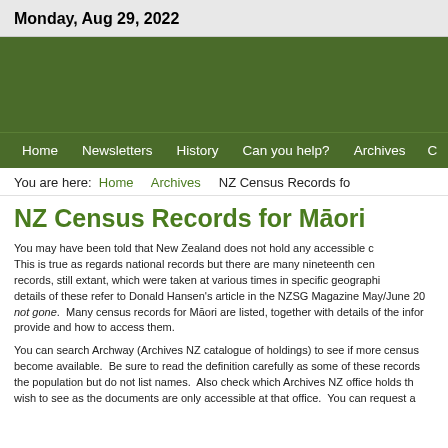Monday, Aug 29, 2022
[Figure (other): Dark green banner/header image for the website]
Home   Newsletters   History   Can you help?   Archives   C…
You are here:  Home  Archives  NZ Census Records fo…
NZ Census Records for Māori
You may have been told that New Zealand does not hold any accessible census records for Māori. This is true as regards national records but there are many nineteenth century Māori records, still extant, which were taken at various times in specific geographic areas. For details of these refer to Donald Hansen's article in the NZSG Magazine May/June 20… not gone. Many census records for Māori are listed, together with details of the information they provide and how to access them.
You can search Archway (Archives NZ catalogue of holdings) to see if more census records become available. Be sure to read the definition carefully as some of these records enumerate the population but do not list names. Also check which Archives NZ office holds the records you wish to see as the documents are only accessible at that office. You can request a…